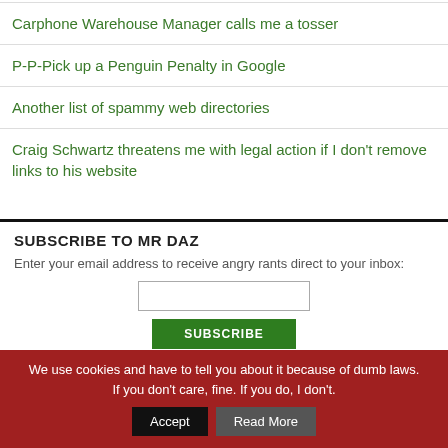Carphone Warehouse Manager calls me a tosser
P-P-Pick up a Penguin Penalty in Google
Another list of spammy web directories
Craig Schwartz threatens me with legal action if I don't remove links to his website
SUBSCRIBE TO MR DAZ
Enter your email address to receive angry rants direct to your inbox:
We use cookies and have to tell you about it because of dumb laws. If you don't care, fine. If you do, I don't.